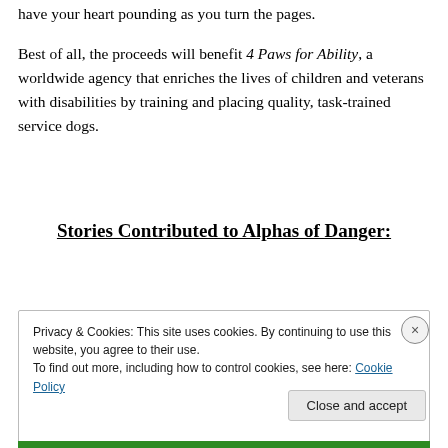have your heart pounding as you turn the pages.
Best of all, the proceeds will benefit 4 Paws for Ability, a worldwide agency that enriches the lives of children and veterans with disabilities by training and placing quality, task-trained service dogs.
Stories Contributed to Alphas of Danger:
Privacy & Cookies: This site uses cookies. By continuing to use this website, you agree to their use.
To find out more, including how to control cookies, see here: Cookie Policy
Close and accept